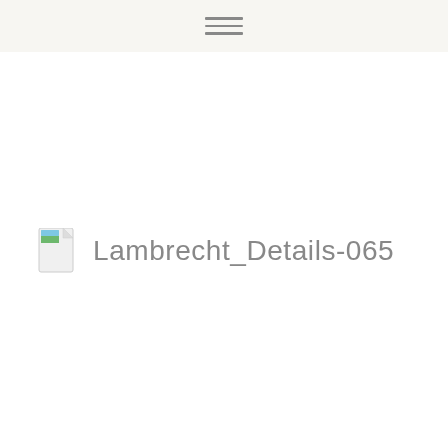[Figure (screenshot): A file entry showing a document icon (image/document file icon with a small landscape photo thumbnail in the corner) and the filename 'Lambrecht_Details-065']